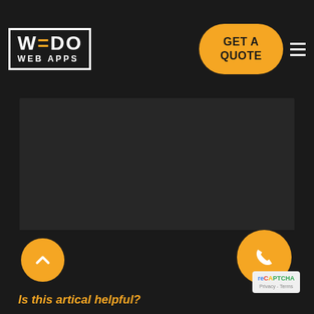[Figure (logo): WeDo Web Apps logo — white outlined rectangle with WEDO in bold white letters and WEB APPS below]
[Figure (other): Orange rounded rectangle button with bold black text GET A QUOTE]
[Figure (other): Three horizontal white lines (hamburger menu icon) on the right side of the header]
[Figure (other): Large dark grey rectangular content panel taking up the middle portion of the page]
[Figure (other): Orange circle scroll-to-top button with a white upward chevron arrow]
Is this artical helpful?
[Figure (other): Orange circle phone/chat button with white phone icon, bottom right, overlapping a reCAPTCHA Privacy - Terms badge]